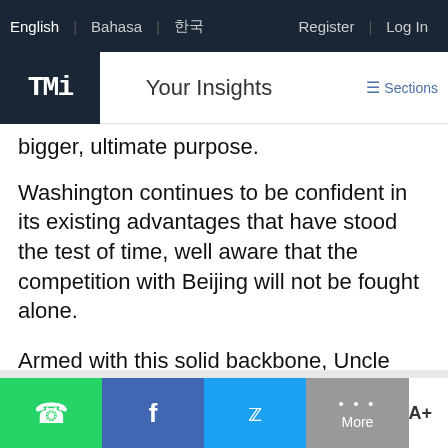English | Bahasa | [Korean] | Register | Log In
Your Insights | ≡ Sections
bigger, ultimate purpose.
Washington continues to be confident in its existing advantages that have stood the test of time, well aware that the competition with Beijing will not be fought alone.
Armed with this solid backbone, Uncle Sam continues to target long-term success with widespread future potential and advantages still untapped in its competition with China.
WhatsApp | Facebook | Twitter | More | A+